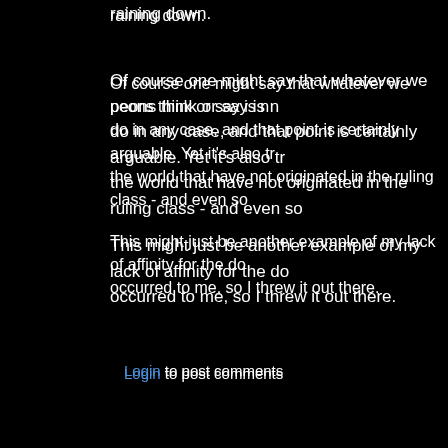raining down.
Of course one might say that whatever we peons think or say is n... do in any case, and that point is certainly arguable. Yet it's also tr... the world that have not originated in the ruling class - and even so...
This might just be another example of my lack of affinity for the do... occurred to me, so I threw it out there.
Login to post comments
[Figure (photo): Profile photo of user Samarami - middle-aged man wearing blue shirt]
Samarami, posted on November 28, 2016
"...I'm having trouble understanding the points here..."
Sometimes I'll write something, read it a few days later, and h... So don't feel bad :-) . My singular point is simply that a dogma... example) that I have does not make you "wrong" if you don't s...
That's the point.
No reason to engage in personalities or rancor in a forum for... commit aggression by trying to have anyone with whom I disa...